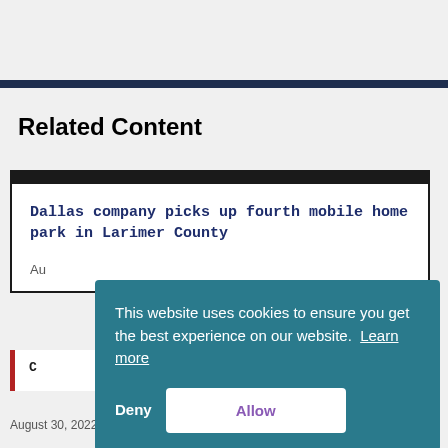Related Content
Dallas company picks up fourth mobile home park in Larimer County
Au[gust …]
C[…]
August 30, 2022
This website uses cookies to ensure you get the best experience on our website. Learn more
Deny
Allow